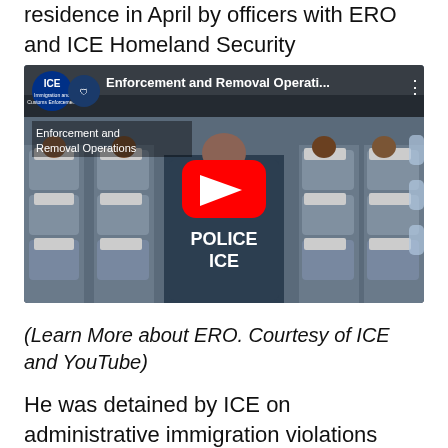residence in April by officers with ERO and ICE Homeland Security Investigations (HSI).
[Figure (screenshot): YouTube video thumbnail showing ICE Enforcement and Removal Operations video. An ICE officer in a jacket labeled POLICE ICE is seated on a plane facing rows of passengers. The video overlay shows the ICE and DHS logos, title 'Enforcement and Removal Operati...' and a red YouTube play button.]
(Learn More about ERO. Courtesy of ICE and YouTube)
He was detained by ICE on administrative immigration violations after the agency learned